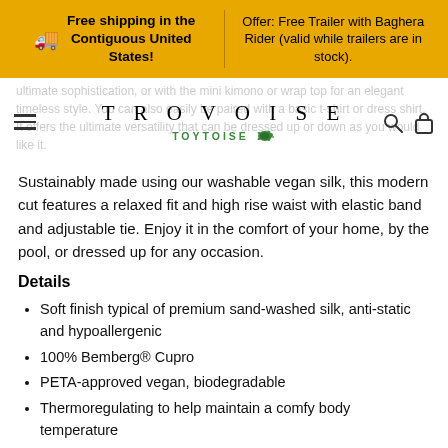Free shipping in the Contiguous United States! | Offer: Free Trailer with Baghera Rider (valid while trailers are in stock).
[Figure (logo): TROVOISE / TOYTOISE brand navigation bar with hamburger menu, search and lock icons]
ultimate sophistication, or with the mini kimono or wrap top for an elegant timeless style. You can also easily be paired with a basic t-shirt or dress shirt. It offers the ultimate versatility that can be dressed up or down as you would like it.
Sustainably made using our washable vegan silk, this modern cut features a relaxed fit and high rise waist with elastic band and adjustable tie. Enjoy it in the comfort of your home, by the pool, or dressed up for any occasion.
Details
Soft finish typical of premium sand-washed silk, anti-static and hypoallergenic
100% Bemberg® Cupro
PETA-approved vegan, biodegradable
Thermoregulating to help maintain a comfy body temperature
Come beautifully wrapped in a signature nil.ux branded box